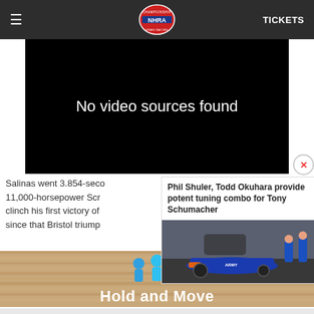NHRA - TICKETS
[Figure (screenshot): Black video player area showing 'No video sources found' text]
Salinas went 3.854-seco 11,000-horsepower Scr clinch his first victory of since that Bristol triump
[Figure (photo): Related article popup: Phil Shuler, Todd Okuhara provide potent tuning combo for Tony Schumacher, with image of blue drag racing car and crew]
[Figure (screenshot): Advertisement overlay showing 'Hold and Move' with blue figure icons on a wood/track background]